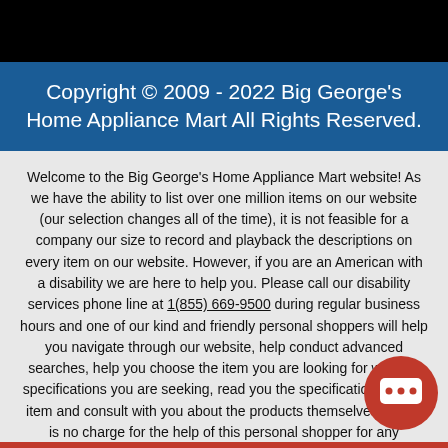Copyright © 2009 - 2022 Big George's Home Appliance Mart All Rights Reserved.
Welcome to the Big George's Home Appliance Mart website! As we have the ability to list over one million items on our website (our selection changes all of the time), it is not feasible for a company our size to record and playback the descriptions on every item on our website. However, if you are an American with a disability we are here to help you. Please call our disability services phone line at 1(855) 669-9500 during regular business hours and one of our kind and friendly personal shoppers will help you navigate through our website, help conduct advanced searches, help you choose the item you are looking for with the specifications you are seeking, read you the specifications of any item and consult with you about the products themselves. There is no charge for the help of this personal shopper for any American with a disability. Finally, your personal shopper will explain our Privacy Policy and Terms of Service to you place an order if you so desire.
[Figure (other): Red circular chat bubble icon in bottom right corner]